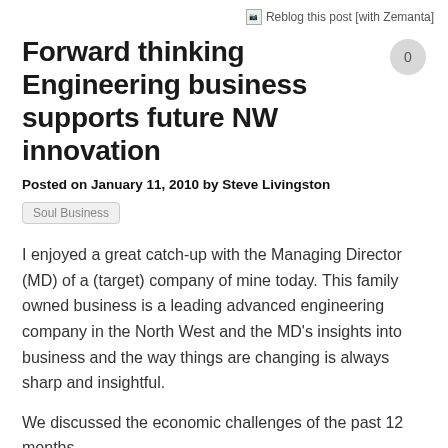[Figure (other): Reblog this post [with Zemanta] button/link with small image icon]
Forward thinking Engineering business supports future NW innovation
Posted on January 11, 2010 by Steve Livingston
Soul Business
I enjoyed a great catch-up with the Managing Director (MD) of a (target) company of mine today.  This family owned business is a leading advanced engineering company in the North West and the MD's insights into business and the way things are changing is always sharp and insightful.
We discussed the economic challenges of the past 12 months